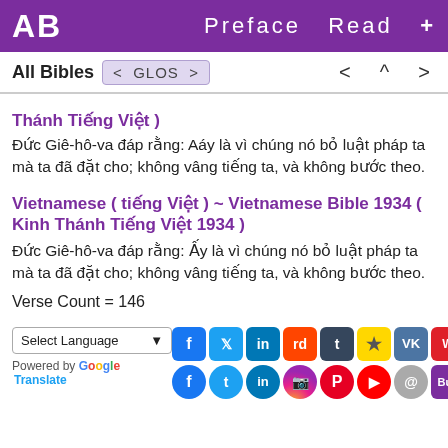AB   Preface  Read  +
All Bibles  < GLOS >   <  ^  >
Thánh Tiếng Việt )
Đức Giê-hô-va đáp rằng: Aáy là vì chúng nó bỏ luật pháp ta mà ta đã đặt cho; không vâng tiếng ta, và không bước theo.
Vietnamese ( tiếng Việt ) ~ Vietnamese Bible 1934 ( Kinh Thánh Tiếng Việt 1934 )
Đức Giê-hô-va đáp rằng: Ấy là vì chúng nó bỏ luật pháp ta mà ta đã đặt cho; không vâng tiếng ta, và không bước theo.
Verse Count = 146
Select Language  Powered by Google Translate